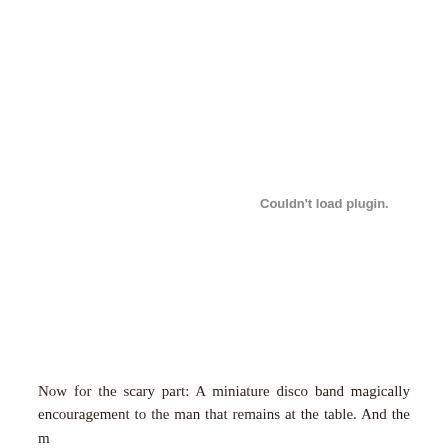[Figure (other): Plugin could not be loaded — placeholder area showing 'Couldn't load plugin.' message in grey text]
Now for the scary part: A miniature disco band magically encouragement to the man that remains at the table. And the m